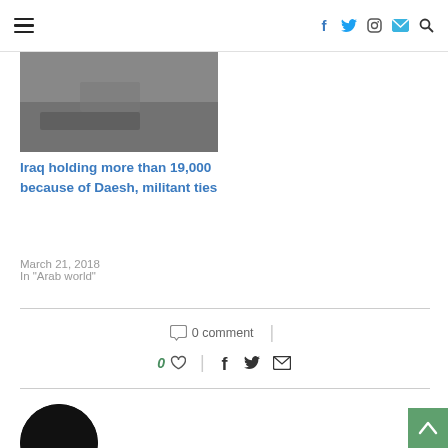Navigation bar with hamburger menu and social icons: Facebook, Twitter, Instagram, Email, Search
[Figure (photo): Thumbnail image of a scene, partially visible at top]
Iraq holding more than 19,000 because of Daesh, militant ties
March 21, 2018
In "Arab world"
0 comment
0 likes, share icons: Facebook, Twitter, Email
[Figure (photo): Dark circular avatar/profile image at bottom left]